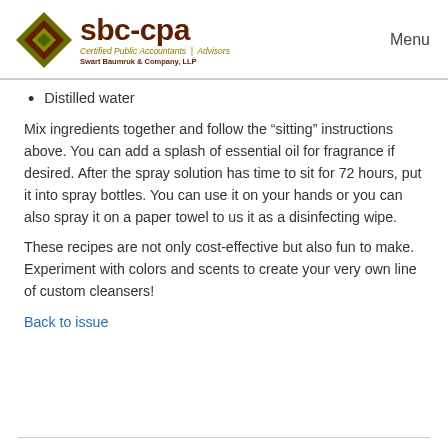sbc-cpa Certified Public Accountants | Advisors Swart Baumruk & Company, LLP | Menu
Distilled water
Mix ingredients together and follow the “sitting” instructions above. You can add a splash of essential oil for fragrance if desired. After the spray solution has time to sit for 72 hours, put it into spray bottles. You can use it on your hands or you can also spray it on a paper towel to us it as a disinfecting wipe.
These recipes are not only cost-effective but also fun to make. Experiment with colors and scents to create your very own line of custom cleansers!
Back to issue